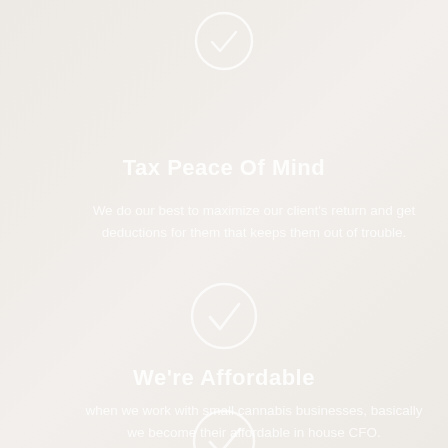[Figure (illustration): White circle checkmark icon at top of page]
Tax Peace Of Mind
We do our best to maximize our client's return and get deductions for them that keeps them out of trouble.
[Figure (illustration): White circle checkmark icon in middle of page]
We're Affordable
when we work with small cannabis businesses, basically we become their affordable in house CFO.
[Figure (illustration): White circle checkmark icon at bottom of page]